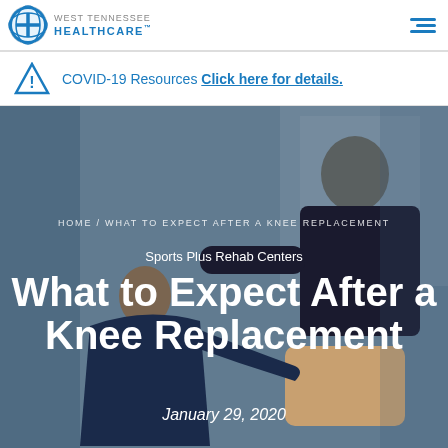West Tennessee Healthcare™
COVID-19 Resources Click here for details.
[Figure (photo): A female physical therapist in a navy polo shirt examining the knee of an older male patient with gray hair wearing a dark t-shirt, seated in a clinical/rehabilitation setting.]
HOME / WHAT TO EXPECT AFTER A KNEE REPLACEMENT
Sports Plus Rehab Centers
What to Expect After a Knee Replacement
January 29, 2020